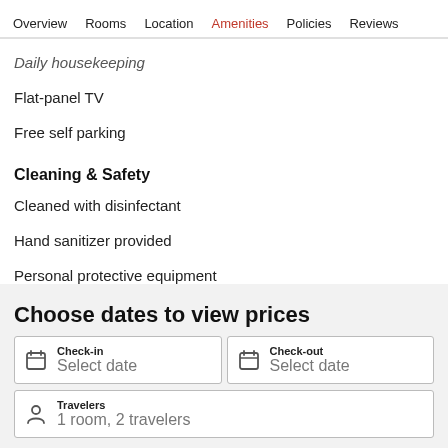Overview | Rooms | Location | Amenities | Policies | Reviews
Daily housekeeping
Flat-panel TV
Free self parking
Cleaning & Safety
Cleaned with disinfectant
Hand sanitizer provided
Personal protective equipment
Social distancing
Choose dates to view prices
Check-in: Select date
Check-out: Select date
Travelers: 1 room, 2 travelers